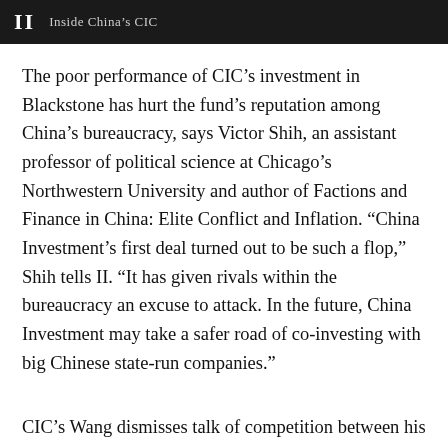II  Inside China's CIC
The poor performance of CIC’s investment in Blackstone has hurt the fund’s reputation among China’s bureaucracy, says Victor Shih, an assistant professor of political science at Chicago’s Northwestern University and author of Factions and Finance in China: Elite Conflict and Inflation. “China Investment’s first deal turned out to be such a flop,” Shih tells II. “It has given rivals within the bureaucracy an excuse to attack. In the future, China Investment may take a safer road of co-investing with big Chinese state-run companies.”
CIC’s Wang dismisses talk of competition between his fund and SAFE. “The State Administration of Foreign